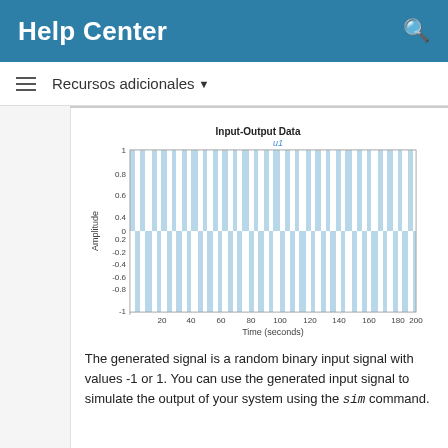Help Center
Recursos adicionales
[Figure (continuous-plot): A MATLAB-style plot showing a random binary input signal (labeled u1) switching between values of -1 and 1 over time from 0 to 200 seconds. The signal appears as dense vertical blue stripes against a white background, with the amplitude axis ranging from -1 to 1.]
The generated signal is a random binary input signal with values -1 or 1. You can use the generated input signal to simulate the output of your system using the sim command.